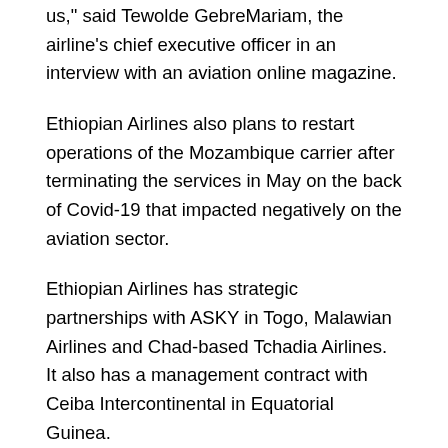us," said Tewolde GebreMariam, the airline's chief executive officer in an interview with an aviation online magazine.
Ethiopian Airlines also plans to restart operations of the Mozambique carrier after terminating the services in May on the back of Covid-19 that impacted negatively on the aviation sector.
Ethiopian Airlines has strategic partnerships with ASKY in Togo, Malawian Airlines and Chad-based Tchadia Airlines. It also has a management contract with Ceiba Intercontinental in Equatorial Guinea.
Ethiopian Airlines, which is also keen in setting up an airline in Nigeria, had started talks to help in revival of South Africa Airways, but was not selected by the carrier.
However, the airline signed an interline agreement with